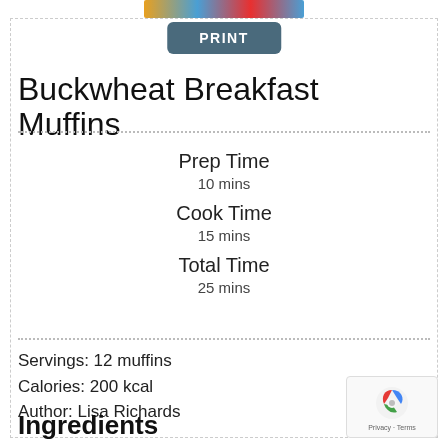[Figure (photo): Partial food photo strip at the top of the page]
PRINT
Buckwheat Breakfast Muffins
Prep Time
10 mins
Cook Time
15 mins
Total Time
25 mins
Servings: 12 muffins
Calories: 200 kcal
Author: Lisa Richards
Ingredients